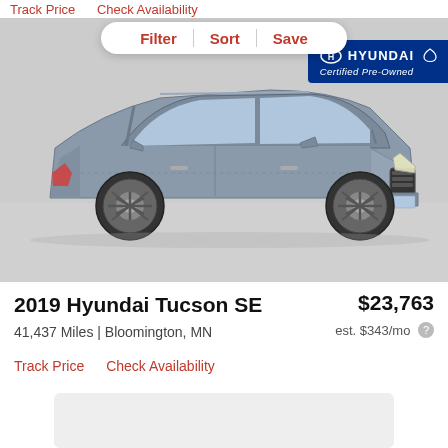Track Price   Check Availability
[Figure (photo): 2019 Hyundai Tucson SE silver/grey SUV with Hyundai Certified Pre-Owned badge, shown from front three-quarter view against a light grey background. Filter/Sort/Save bar overlay at top.]
2019 Hyundai Tucson SE
$23,763
41,437 Miles | Bloomington, MN
est. $343/mo
Track Price    Check Availability